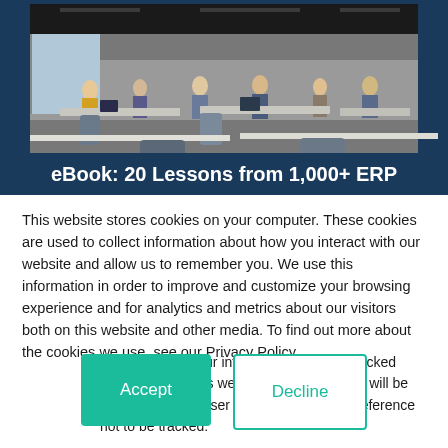[Figure (photo): Office workspace with many people working at desks with computers in a large open-plan office space. Photo is framed within a dark navy blue banner.]
eBook: 20 Lessons from 1,000+ ERP
This website stores cookies on your computer. These cookies are used to collect information about how you interact with our website and allow us to remember you. We use this information in order to improve and customize your browsing experience and for analytics and metrics about our visitors both on this website and other media. To find out more about the cookies we use, see our Privacy Policy.
If you decline, your information won’t be tracked when you visit this website. A single cookie will be used in your browser to remember your preference not to be tracked.
Accept
Decline